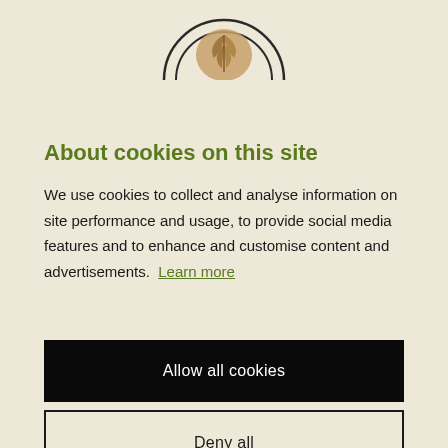[Figure (logo): Circular logo with wheat/leaf motif in brown/tan color, partially visible at top of page, dark outline circle]
About cookies on this site
We use cookies to collect and analyse information on site performance and usage, to provide social media features and to enhance and customise content and advertisements. Learn more
Allow all cookies
Deny all
Cookie settings